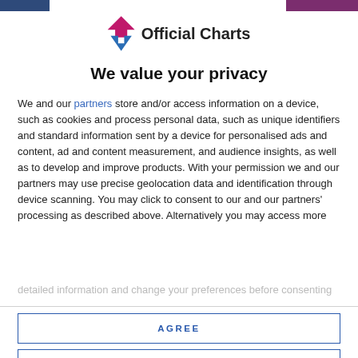[Figure (logo): Official Charts logo with pink/blue arrow icon and text 'Official Charts']
We value your privacy
We and our partners store and/or access information on a device, such as cookies and process personal data, such as unique identifiers and standard information sent by a device for personalised ads and content, ad and content measurement, and audience insights, as well as to develop and improve products. With your permission we and our partners may use precise geolocation data and identification through device scanning. You may click to consent to our and our partners' processing as described above. Alternatively you may access more detailed information and change your preferences before consenting
AGREE
MORE OPTIONS
Manchester's own @intergalactic...